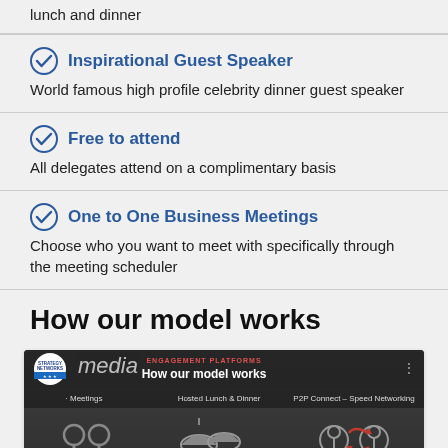lunch and dinner
Inspirational Guest Speaker
World famous high profile celebrity dinner guest speaker
Free to attend
All delegates attend on a complimentary basis
One to One Business Meetings
Choose who you want to meet with specifically through the meeting scheduler
How our model works
[Figure (screenshot): YouTube video thumbnail showing 'How our model works' with icons for Meetings, Hosted Lunch & Dinner, and P2P Connect - Speed Networking]